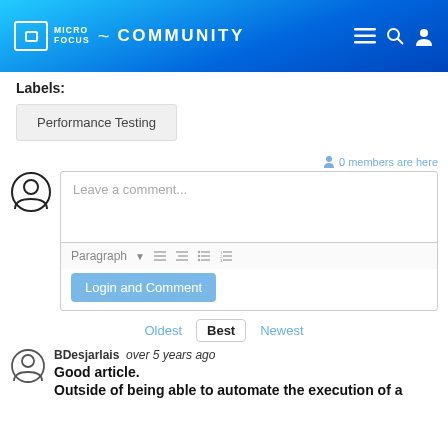Micro Focus Community
Labels:
Performance Testing
0 members are here
Leave a comment...
Paragraph
Login and Comment
Oldest  Best  Newest
BDesjarlais  over 5 years ago
Good article.
Outside of being able to automate the execution of a